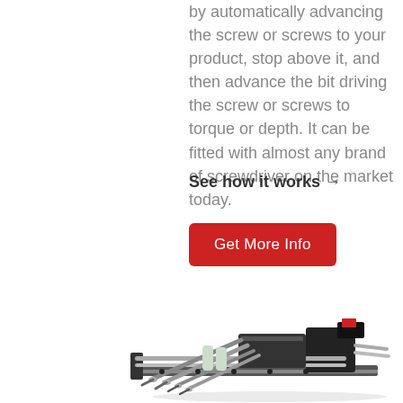by automatically advancing the screw or screws to your product, stop above it, and then advance the bit driving the screw or screws to torque or depth. It can be fitted with almost any brand of screwdriver on the market today.
See how it works →
Get More Info
[Figure (photo): Industrial automatic screw driving machine with multiple spindles mounted on a linear rail system, viewed from a diagonal perspective. The machine features several screwdrivers/spindles arranged in parallel with a black frame and metallic components.]